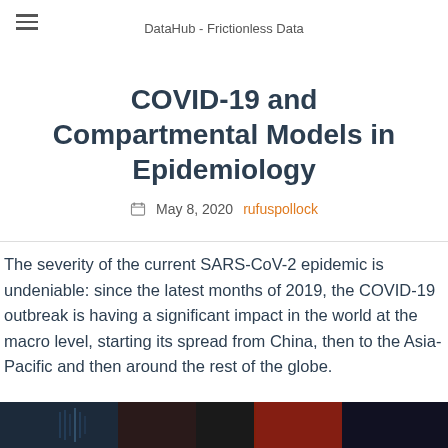DataHub - Frictionless Data
COVID-19 and Compartmental Models in Epidemiology
May 8, 2020  rufuspollock
The severity of the current SARS-CoV-2 epidemic is undeniable: since the latest months of 2019, the COVID-19 outbreak is having a significant impact in the world at the macro level, starting its spread from China, then to the Asia-Pacific and then around the rest of the globe.
[Figure (photo): Partial image strip at bottom of page showing COVID-related imagery with dark tones]